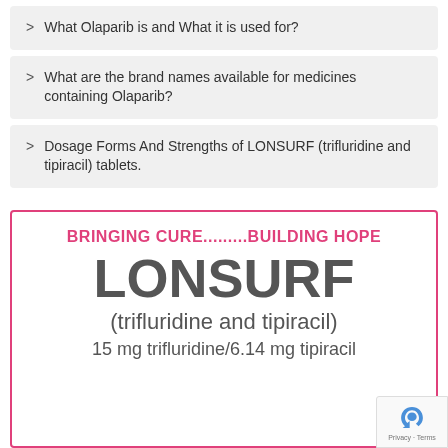What Olaparib is and What it is used for?
What are the brand names available for medicines containing Olaparib?
Dosage Forms And Strengths of LONSURF (trifluridine and tipiracil) tablets.
[Figure (illustration): Drug packaging card for LONSURF with pink border. Contains tagline 'BRINGING CURE.........BUILDING HOPE' in pink, large grey text 'LONSURF', subtitle '(trifluridine and tipiracil)', and dosage '15 mg trifluridine/6.14 mg tipiracil'.]